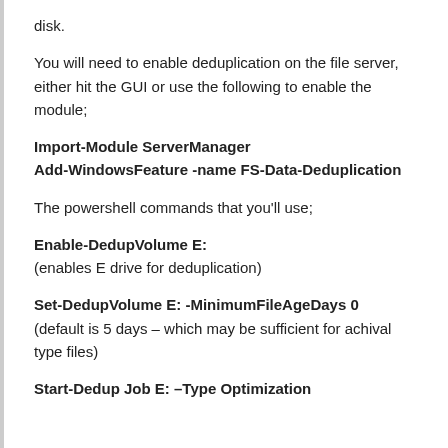disk.
You will need to enable deduplication on the file server, either hit the GUI or use the following to enable the module;
Import-Module ServerManager
Add-WindowsFeature -name FS-Data-Deduplication
The powershell commands that you'll use;
Enable-DedupVolume E:
(enables E drive for deduplication)
Set-DedupVolume E: -MinimumFileAgeDays 0
(default is 5 days – which may be sufficient for achival type files)
Start-Dedup Job E: –Type Optimization